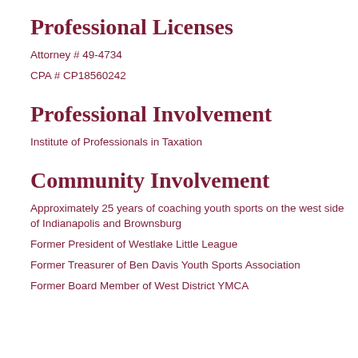Professional Licenses
Attorney # 49-4734
CPA # CP18560242
Professional Involvement
Institute of Professionals in Taxation
Community Involvement
Approximately 25 years of coaching youth sports on the west side of Indianapolis and Brownsburg
Former President of Westlake Little League
Former Treasurer of Ben Davis Youth Sports Association
Former Board Member of West District YMCA